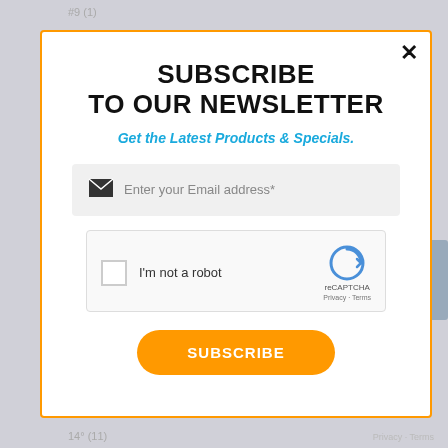#9 (1)
SUBSCRIBE TO OUR NEWSLETTER
Get the Latest Products & Specials.
Enter your Email address*
[Figure (other): reCAPTCHA widget with checkbox labeled 'I'm not a robot' and reCAPTCHA logo with Privacy and Terms links]
SUBSCRIBE
14° (11)
Privacy · Terms